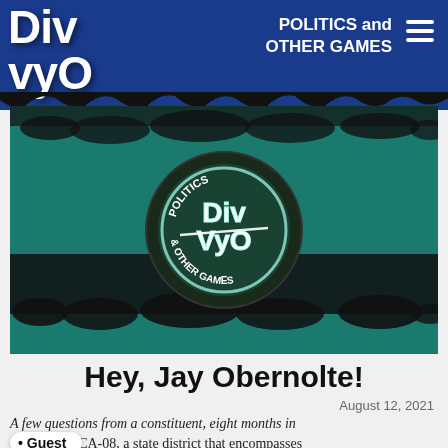DivVyO — POLITICS and OTHER GAMES
[Figure (logo): DivVyO Politics and Other Games banner with teal background, black splatter pattern, and circular logo in center]
Hey, Jay Obernolte!
August 12, 2021
A few questions from a constituent, eight months in
Guest
I belong to CA-08, a state district that encompasses